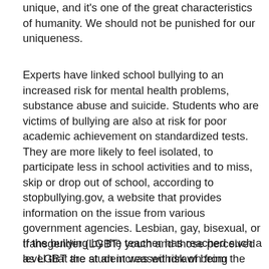unique, and it's one of the great characteristics of humanity. We should not be punished for our uniqueness.
Experts have linked school bullying to an increased risk for mental health problems, substance abuse and suicide. Students who are victims of bullying are also at risk for poor academic achievement on standardized tests. They are more likely to feel isolated, to participate less in school activities and to miss, skip or drop out of school, according to stopbullying.gov, a website that provides information on the issue from various government agencies. Lesbian, gay, bisexual, or transgender (LGBT) youth and those perceived as LGBT are at an increased risk of being bullied, the website says.
If the bullying by the teacher has reached such a level that the student was withdrawn from the school, had to seek